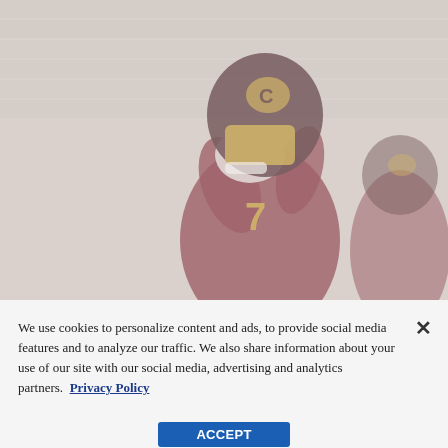[Figure (photo): A Central Michigan University football player wearing number 7 in a maroon and gold helmet and jersey, adjusting or putting on a white helmet. Another player in the same uniform is partially visible in the background. The stadium bleachers are visible in the background, giving a faded/overexposed appearance.]
We use cookies to personalize content and ads, to provide social media features and to analyze our traffic. We also share information about your use of our site with our social media, advertising and analytics partners.  Privacy Policy